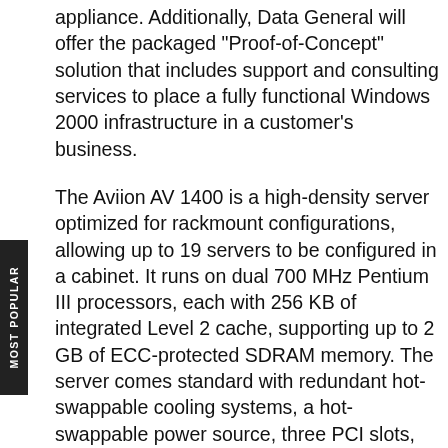appliance. Additionally, Data General will offer the packaged "Proof-of-Concept" solution that includes support and consulting services to place a fully functional Windows 2000 infrastructure in a customer's business.
The Aviion AV 1400 is a high-density server optimized for rackmount configurations, allowing up to 19 servers to be configured in a cabinet. It runs on dual 700 MHz Pentium III processors, each with 256 KB of integrated Level 2 cache, supporting up to 2 GB of ECC-protected SDRAM memory. The server comes standard with redundant hot-swappable cooling systems, a hot-swappable power source, three PCI slots, and dual integrated SCSI LAN and video, in a 2U chassis. Internal storage capabilities include bays for four internal hot-swappable